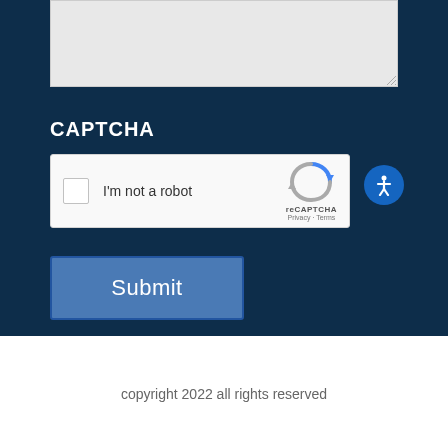[Figure (screenshot): Textarea input field with light gray background, partially visible at top of page]
CAPTCHA
[Figure (screenshot): reCAPTCHA widget with checkbox labeled 'I'm not a robot' and reCAPTCHA logo with Privacy and Terms links]
[Figure (other): Blue circular accessibility icon button]
[Figure (other): Submit button, blue rectangle]
copyright 2022 all rights reserved